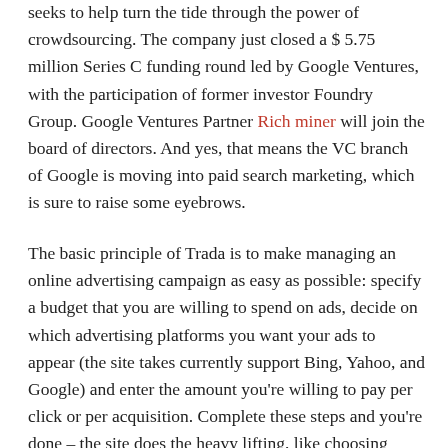field. Enter Trade, a startup launched in March that seeks to help turn the tide through the power of crowdsourcing. The company just closed a $ 5.75 million Series C funding round led by Google Ventures, with the participation of former investor Foundry Group. Google Ventures Partner Rich miner will join the board of directors. And yes, that means the VC branch of Google is moving into paid search marketing, which is sure to raise some eyebrows.
The basic principle of Trada is to make managing an online advertising campaign as easy as possible: specify a budget that you are willing to spend on ads, decide on which advertising platforms you want your ads to appear (the site takes currently support Bing, Yahoo, and Google) and enter the amount you're willing to pay per click or per acquisition. Complete these steps and you're done – the site does the heavy lifting, like choosing thousands of keywords to target and writing an ad copy, for its community of experts.